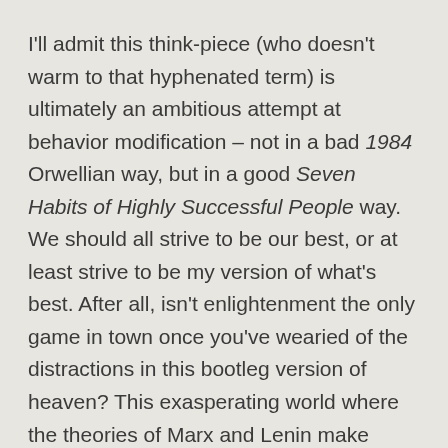I'll admit this think-piece (who doesn't warm to that hyphenated term) is ultimately an ambitious attempt at behavior modification – not in a bad 1984 Orwellian way, but in a good Seven Habits of Highly Successful People way. We should all strive to be our best, or at least strive to be my version of what's best. After all, isn't enlightenment the only game in town once you've wearied of the distractions in this bootleg version of heaven? This exasperating world where the theories of Marx and Lenin make great sense on paper but are a disaster in practice. A world where sex makes no sense on paper, but is sublime in practice (or on the paper).